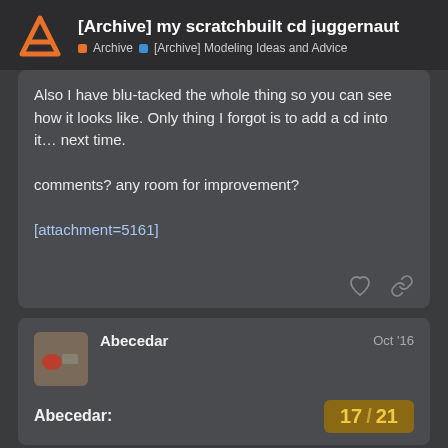[Archive] my scratchbuilt cd juggernaut — Archive > [Archive] Modeling Ideas and Advice
Also I have blu-tacked the whole thing so you can see how it looks like. Only thing I forgot is to add a cd into it… next time.

comments? any room for improvement?

[attachment=5161]
Abecedar Oct '16
Abecedar: 17 / 21